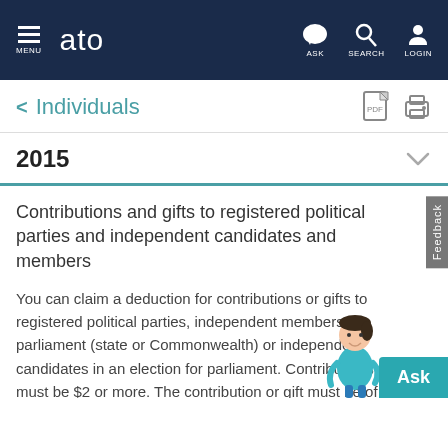MENU | ato | ASK | SEARCH | LOGIN
< Individuals
2015
Contributions and gifts to registered political parties and independent candidates and members
You can claim a deduction for contributions or gifts to registered political parties, independent members of parliament (state or Commonwealth) or independent candidates in an election for parliament. Contributions must be $2 or more. The contribution or gift must be of money or property that you purchased during the 12 months before making the contribution or gift. If it is prope...